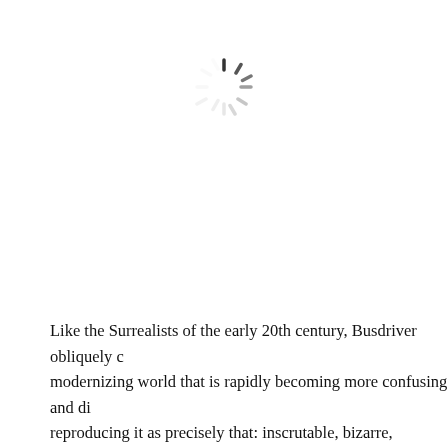[Figure (other): A loading spinner icon (circular spokes radiating from center, partially faded, gray color) centered near the top of the page]
Like the Surrealists of the early 20th century, Busdriver obliquely c modernizing world that is rapidly becoming more confusing and di reproducing it as precisely that: inscrutable, bizarre, twisted, a who shards of symbol. And like a comedian, Driver draws his listeners'